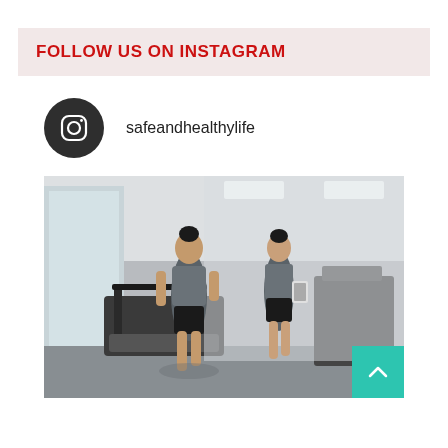FOLLOW US ON INSTAGRAM
safeandhealthylife
[Figure (photo): A woman in athletic wear walking on a treadmill in a gym, with her reflection visible in a mirror. She is wearing a gray shirt and black shorts. Gym equipment is visible in the background.]